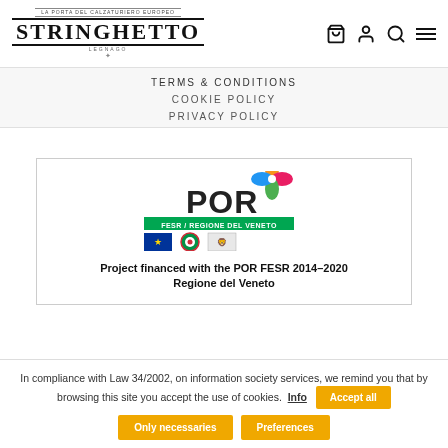STRINGHETTO
TERMS & CONDITIONS
COOKIE POLICY
PRIVACY POLICY
[Figure (logo): POR FESR / Regione del Veneto logo with EU flag and regional emblems]
Project financed with the POR FESR 2014-2020 Regione del Veneto
In compliance with Law 34/2002, on information society services, we remind you that by browsing this site you accept the use of cookies. Info | Accept all | Only necessaries | Preferences